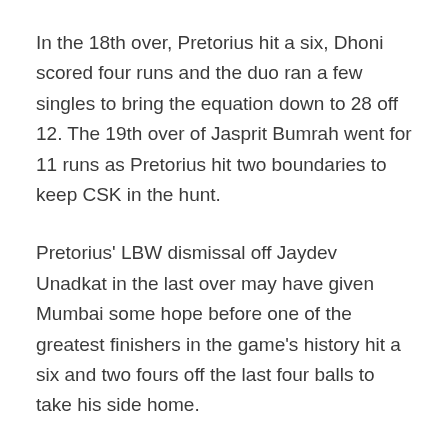In the 18th over, Pretorius hit a six, Dhoni scored four runs and the duo ran a few singles to bring the equation down to 28 off 12. The 19th over of Jasprit Bumrah went for 11 runs as Pretorius hit two boundaries to keep CSK in the hunt.
Pretorius' LBW dismissal off Jaydev Unadkat in the last over may have given Mumbai some hope before one of the greatest finishers in the game's history hit a six and two fours off the last four balls to take his side home.